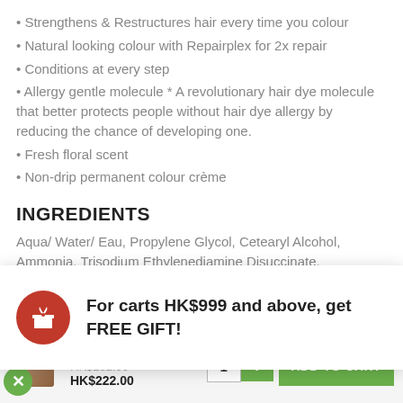• Strengthens & Restructures hair every time you colour
• Natural looking colour with Repairplex for 2x repair
• Conditions at every step
• Allergy gentle molecule * A revolutionary hair dye molecule that better protects people without hair dye allergy by reducing the chance of developing one.
• Fresh floral scent
• Non-drip permanent colour crème
INGREDIENTS
Aqua/ Water/ Eau, Propylene Glycol, Cetearyl Alcohol, Ammonia, Trisodium Ethylenediamine Disuccinate, Ammonium Sulfate, Parfum/Fragrance, Sodium Sulfite, Dicetyl Phosphate, Ascorbic
For carts HK$999 and above, get FREE GIFT!
Natural Instincts 6A Cinch, Medium Cool Blonde Semi-Permanent Hair Colour
HK$282.00 HK$222.00
1 + ADD TO CART